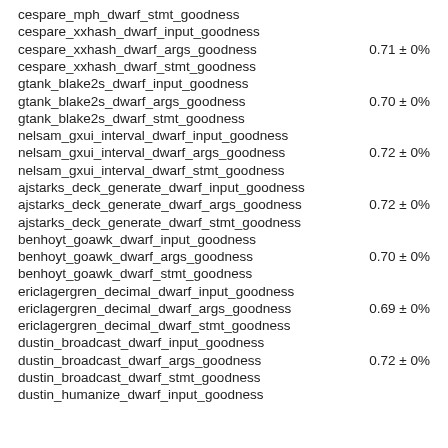| Name | Value |
| --- | --- |
| cespare_mph_dwarf_stmt_goodness |  |
| cespare_xxhash_dwarf_input_goodness |  |
| cespare_xxhash_dwarf_args_goodness | 0.71 ± 0% |
| cespare_xxhash_dwarf_stmt_goodness |  |
| gtank_blake2s_dwarf_input_goodness |  |
| gtank_blake2s_dwarf_args_goodness | 0.70 ± 0% |
| gtank_blake2s_dwarf_stmt_goodness |  |
| nelsam_gxui_interval_dwarf_input_goodness |  |
| nelsam_gxui_interval_dwarf_args_goodness | 0.72 ± 0% |
| nelsam_gxui_interval_dwarf_stmt_goodness |  |
| ajstarks_deck_generate_dwarf_input_goodness |  |
| ajstarks_deck_generate_dwarf_args_goodness | 0.72 ± 0% |
| ajstarks_deck_generate_dwarf_stmt_goodness |  |
| benhoyt_goawk_dwarf_input_goodness |  |
| benhoyt_goawk_dwarf_args_goodness | 0.70 ± 0% |
| benhoyt_goawk_dwarf_stmt_goodness |  |
| ericlagergren_decimal_dwarf_input_goodness |  |
| ericlagergren_decimal_dwarf_args_goodness | 0.69 ± 0% |
| ericlagergren_decimal_dwarf_stmt_goodness |  |
| dustin_broadcast_dwarf_input_goodness |  |
| dustin_broadcast_dwarf_args_goodness | 0.72 ± 0% |
| dustin_broadcast_dwarf_stmt_goodness |  |
| dustin_humanize_dwarf_input_goodness |  |